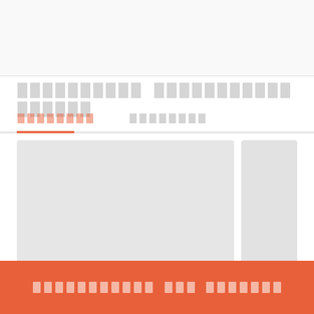[Figure (screenshot): Top banner area with light gray background, approximately 108px tall, representing a header or navigation area of a web application.]
░░░░░░░░░░ ░░░░░░░░░░░ ░░░░░░
░░░░░░░░  ░░░░░░░░░
[Figure (screenshot): Two image/card placeholders side by side: a large gray rectangle on the left and a narrower gray rectangle on the right, representing content cards in a tab panel.]
░░░░░░░░░░░ ░░░ ░░░░░░░